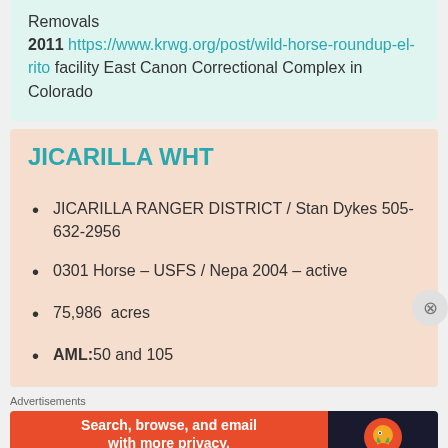Removals
2011 https://www.krwg.org/post/wild-horse-roundup-el-rito facility East Canon Correctional Complex in Colorado
JICARILLA WHT
JICARILLA RANGER DISTRICT / Stan Dykes 505-632-2956
0301 Horse – USFS / Nepa 2004 – active
75,986 acres
AML: 50 and 105
Advertisements
[Figure (infographic): DuckDuckGo advertisement banner: 'Search, browse, and email with more privacy. All in One Free App' with DuckDuckGo logo on dark background]